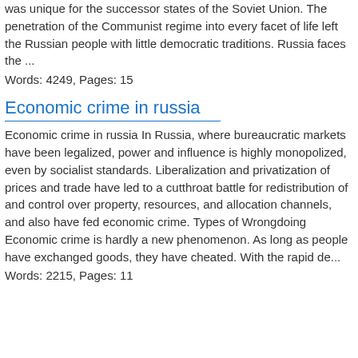was unique for the successor states of the Soviet Union. The penetration of the Communist regime into every facet of life left the Russian people with little democratic traditions. Russia faces the ...
Words: 4249, Pages: 15
Economic crime in russia
Economic crime in russia In Russia, where bureaucratic markets have been legalized, power and influence is highly monopolized, even by socialist standards. Liberalization and privatization of prices and trade have led to a cutthroat battle for redistribution of and control over property, resources, and allocation channels, and also have fed economic crime. Types of Wrongdoing Economic crime is hardly a new phenomenon. As long as people have exchanged goods, they have cheated. With the rapid de...
Words: 2215, Pages: 11